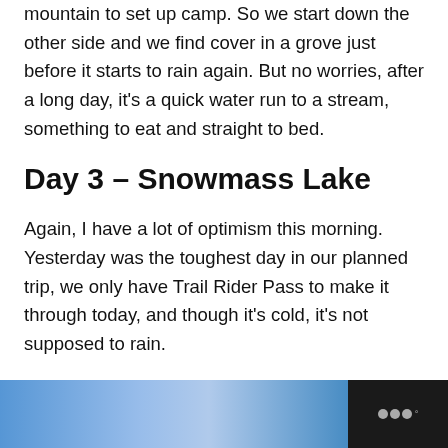mountain to set up camp. So we start down the other side and we find cover in a grove just before it starts to rain again. But no worries, after a long day, it's a quick water run to a stream, something to eat and straight to bed.
Day 3 – Snowmass Lake
Again, I have a lot of optimism this morning. Yesterday was the toughest day in our planned trip, we only have Trail Rider Pass to make it through today, and though it's cold, it's not supposed to rain.
Soon after we leave camp we pass a huge waterfall. After a couple photo ops, we get back on the trail. About 30 minutes later we come to a wide stream and it seems
[Figure (photo): Partial view of a photo strip at the bottom of the page showing blue/water imagery, cut off, with a dark bar containing a logo with three dots and a superscript degree symbol on the right side.]